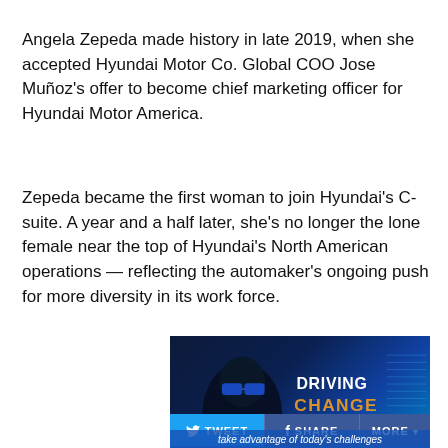Angela Zepeda made history in late 2019, when she accepted Hyundai Motor Co. Global COO Jose Muñoz's offer to become chief marketing officer for Hyundai Motor America.
Zepeda became the first woman to join Hyundai's C-suite. A year and a half later, she's no longer the lone female near the top of Hyundai's North American operations — reflecting the automaker's ongoing push for more diversity in its work force.
[Figure (photo): Dark blue-toned image of a person wearing reflective glasses with text overlay reading 'DRIVING CHANGE' and social share buttons (Tweet, Share, More) at the bottom, with caption 'take advantage of today's challenges']
take advantage of today's challenges